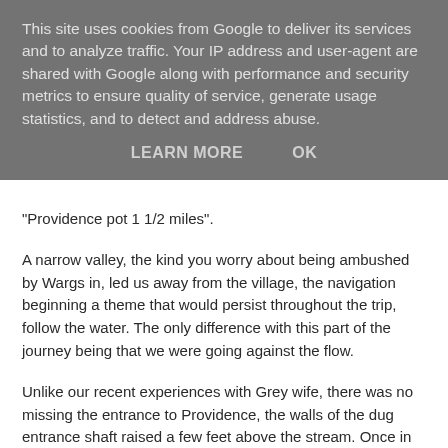This site uses cookies from Google to deliver its services and to analyze traffic. Your IP address and user-agent are shared with Google along with performance and security metrics to ensure quality of service, generate usage statistics, and to detect and address abuse.
LEARN MORE   OK
"Providence pot 1 1/2 miles".
A narrow valley, the kind you worry about being ambushed by Wargs in, led us away from the village, the navigation beginning a theme that would persist throughout the trip, follow the water. The only difference with this part of the journey being that we were going against the flow.
Unlike our recent experiences with Grey wife, there was no missing the entrance to Providence, the walls of the dug entrance shaft raised a few feet above the stream. Once in the shaft I pulled the heavy steel lid back across the entrance. A final glimpse of blue sky, before turning to the way on, illuminated only by the pool of light from my lamp.